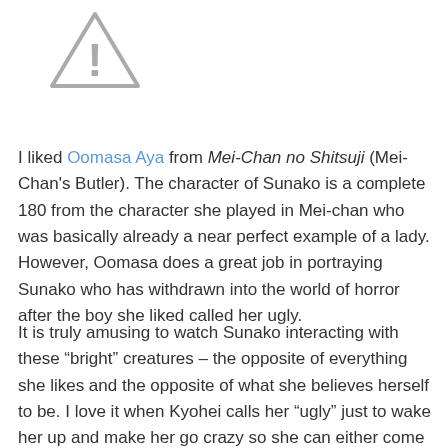[Figure (other): Warning triangle icon with exclamation mark, gray outline]
I liked Oomasa Aya from Mei-Chan no Shitsuji (Mei-Chan's Butler). The character of Sunako is a complete 180 from the character she played in Mei-chan who was basically already a near perfect example of a lady. However, Oomasa does a great job in portraying Sunako who has withdrawn into the world of horror after the boy she liked called her ugly.
It is truly amusing to watch Sunako interacting with these “bright” creatures – the opposite of everything she likes and the opposite of what she believes herself to be. I love it when Kyohei calls her “ugly” just to wake her up and make her go crazy so she can either come to her senses or bust out some moves to save the day. I think